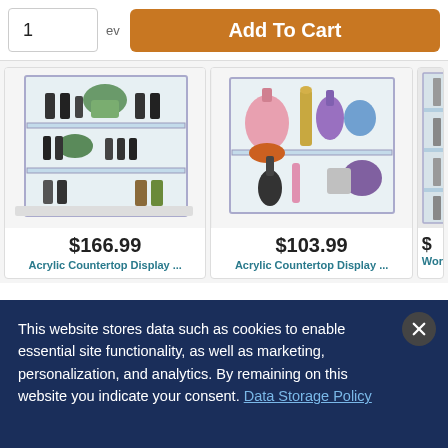1
Add To Cart
[Figure (photo): Acrylic countertop display case with essential oils and plants on shelves]
$166.99
Acrylic Countertop Display ...
[Figure (photo): Acrylic countertop display case with perfume bottles]
$103.99
Acrylic Countertop Display ...
[Figure (photo): Partial view of a workshop display unit]
$
Workshop
This website stores data such as cookies to enable essential site functionality, as well as marketing, personalization, and analytics. By remaining on this website you indicate your consent. Data Storage Policy